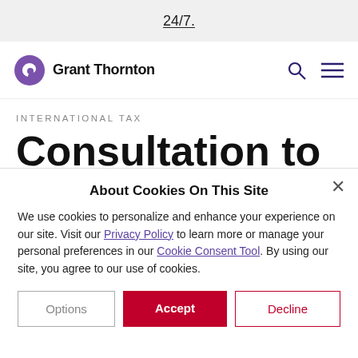24/7.
[Figure (logo): Grant Thornton logo with purple swirl icon and company name]
INTERNATIONAL TAX
Consultation to
counter tax avoidance and transfer pricing misnomers
About Cookies On This Site
We use cookies to personalize and enhance your experience on our site. Visit our Privacy Policy to learn more or manage your personal preferences in our Cookie Consent Tool. By using our site, you agree to our use of cookies.